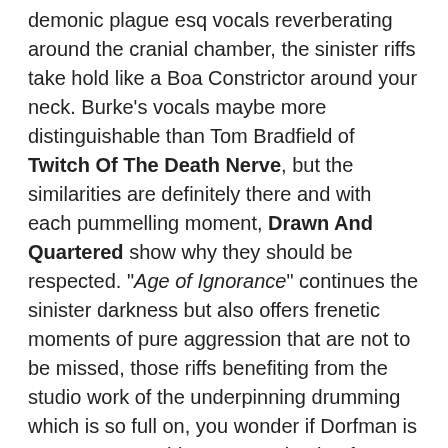demonic plague esq vocals reverberating around the cranial chamber, the sinister riffs take hold like a Boa Constrictor around your neck. Burke's vocals maybe more distinguishable than Tom Bradfield of Twitch Of The Death Nerve, but the similarities are definitely there and with each pummelling moment, Drawn And Quartered show why they should be respected. "Age of Ignorance" continues the sinister darkness but also offers frenetic moments of pure aggression that are not to be missed, those riffs benefiting from the studio work of the underpinning drumming which is so full on, you wonder if Dorfman is a man or a machine. An unrelenting force that can only have calloused and splinter ridden hands, he a master of technique when it comes to this flavour of Metal. The churning off kilter riffs of "Oblivion Pilgrimage" are nauseatingly good and offer something approaching groove in a Medieval celebration of violence and devilry and similar styling works incredibly well if more sparingly in the ferocious and bloodthirsty "Rotting Abomination (The Cleansing)". Its as if the trio are a beast whose hunger for Death